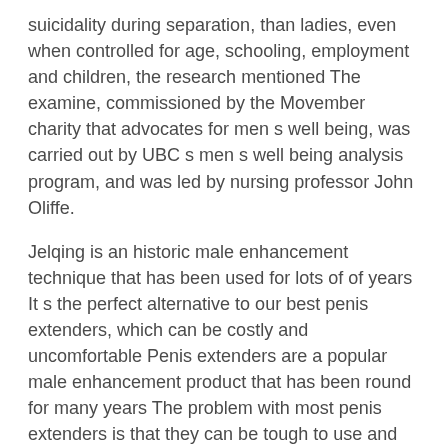suicidality during separation, than ladies, even when controlled for age, schooling, employment and children, the research mentioned The examine, commissioned by the Movember charity that advocates for men s well being, was carried out by UBC s men s well being analysis program, and was led by nursing professor John Oliffe.
Jelqing is an historic male enhancement technique that has been used for lots of of years It s the perfect alternative to our best penis extenders, which can be costly and uncomfortable Penis extenders are a popular male enhancement product that has been round for many years The problem with most penis extenders is that they can be tough to use and require plenty of dedication on the part of the user A cock sleeve on the opposite hand is something that can t be Best Penis Enlargement Pills hidden It doesn t stretch anything however your ego when worn publicly because its solely use is offering pleasure throughout sexual activity.